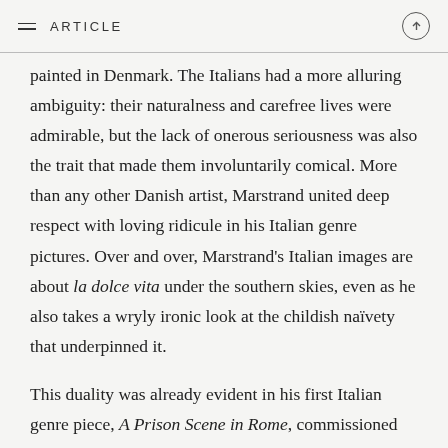ARTICLE
painted in Denmark. The Italians had a more alluring ambiguity: their naturalness and carefree lives were admirable, but the lack of onerous seriousness was also the trait that made them involuntarily comical. More than any other Danish artist, Marstrand united deep respect with loving ridicule in his Italian genre pictures. Over and over, Marstrand's Italian images are about la dolce vita under the southern skies, even as he also takes a wryly ironic look at the childish naïvety that underpinned it.
This duality was already evident in his first Italian genre piece, A Prison Scene in Rome, commissioned by Kunstforeningen back home in Copenhagen [fig. 12]. The theme is the Italians' astonishingly laissez-faire attitude towards justice and punishment. The prison has a street-level